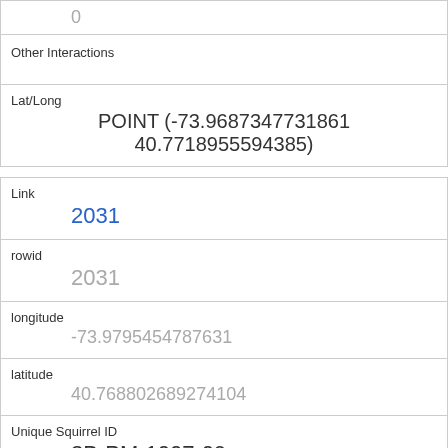| 0 |
| Other Interactions |  |
| Lat/Long | POINT (-73.9687347731861 40.7718955594385) |
| Link | 2031 |
| rowid | 2031 |
| longitude | -73.9795454787631 |
| latitude | 40.768802689274104 |
| Unique Squirrel ID | 3B-PM-1007-09 |
| Hectare | 03B |
| Shift | PM |
| Date |  |